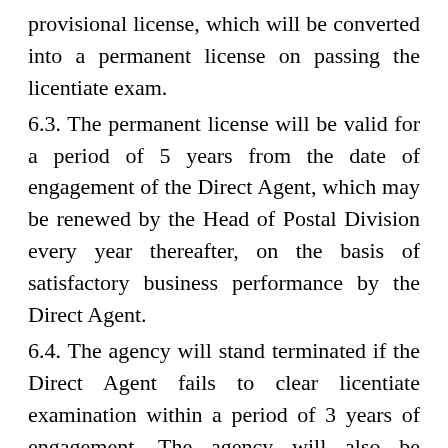provisional license, which will be converted into a permanent license on passing the licentiate exam.
6.3. The permanent license will be valid for a period of 5 years from the date of engagement of the Direct Agent, which may be renewed by the Head of Postal Division every year thereafter, on the basis of satisfactory business performance by the Direct Agent.
6.4. The agency will stand terminated if the Direct Agent fails to clear licentiate examination within a period of 3 years of engagement. The agency will also be terminated if the permanent license is not renewed every year after 5 years of engagement as Direct Agent.